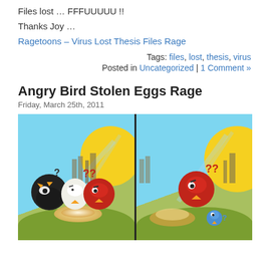Files lost … FFFUUUUU !!
Thanks Joy …
Ragetoons – Virus Lost Thesis Files Rage
Tags: files, lost, thesis, virus
Posted in Uncategorized | 1 Comment »
Angry Bird Stolen Eggs Rage
Friday, March 25th, 2011
[Figure (illustration): Angry Birds cartoon image split into two panels showing Angry Birds characters (black bomb bird, white bird, red bird, and blue birds) looking at an empty nest with question marks, on a grassy landscape with a yellow sun and castle silhouettes in the background.]